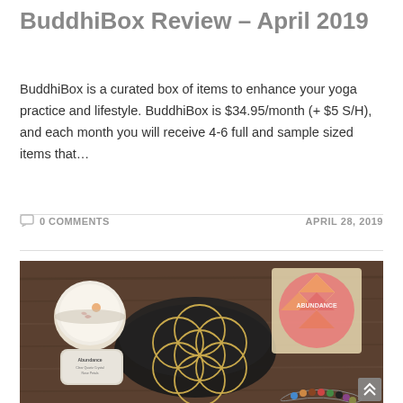BuddhiBox Review – April 2019
BuddhiBox is a curated box of items to enhance your yoga practice and lifestyle. BuddhiBox is $34.95/month (+ $5 S/H), and each month you will receive 4-6 full and sample sized items that…
0 COMMENTS    APRIL 28, 2019
[Figure (photo): Flat lay photograph showing BuddhiBox April 2019 contents on a dark wooden surface: a white candle tin labeled Abundance, a black fabric pouch, a seed of life geometric wood art piece, a pink circular Abundance disk, and a beaded bracelet with colorful stones.]